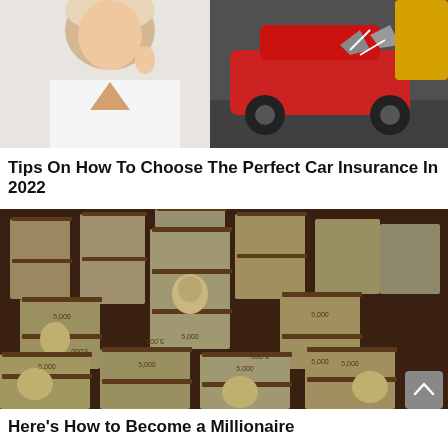[Figure (photo): Woman in white jacket on left looking concerned, crashed red cars on right background]
Tips On How To Choose The Perfect Car Insurance In 2022
[Figure (photo): Large stacks of bundled $100 bills arranged on a surface, each bundle banded with $5,000 labels]
Here's How to Become a Millionaire